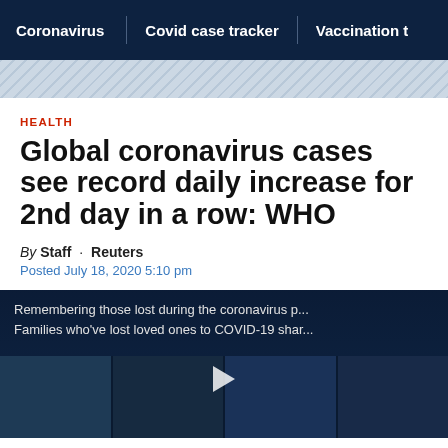Coronavirus | Covid case tracker | Vaccination t
HEALTH
Global coronavirus cases see record daily increase for 2nd day in a row: WHO
By Staff · Reuters
Posted July 18, 2020 5:10 pm
[Figure (photo): Video thumbnail showing faces of people lost to coronavirus pandemic, with overlay text: 'Remembering those lost during the coronavirus p... Families who've lost loved ones to COVID-19 shar...']